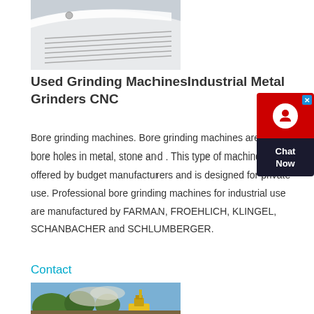[Figure (photo): Close-up photo of a white curved machine surface with metal grill/slat components, likely a grinding or industrial machine]
Used Grinding MachinesIndustrial Metal Grinders CNC
Bore grinding machines. Bore grinding machines are used to bore holes in metal, stone and . This type of machine is also offered by budget manufacturers and is designed for private use. Professional bore grinding machines for industrial use are manufactured by FARMAN, FROEHLICH, KLINGEL, SCHANBACHER and SCHLUMBERGER.
Contact
[Figure (photo): Outdoor photo of industrial equipment or machinery operating with dust/smoke, surrounded by trees and sky]